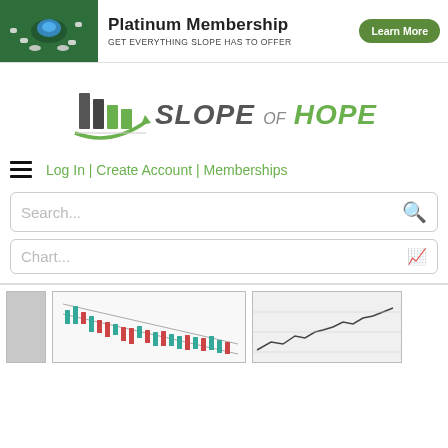[Figure (infographic): Platinum Membership banner ad with green jeweled brooch image on left, bold title 'Platinum Membership', subtitle 'GET EVERYTHING SLOPE HAS TO OFFER', and a green 'Learn More' button]
[Figure (logo): Slope of Hope logo with bar chart icon and green arrow, text reads 'SLOPE OF HOPE']
Log In | Create Account | Memberships
Search...
Chart...
[Figure (screenshot): Stock chart thumbnail showing candlestick/line chart with downward trend lines, green and red candles]
[Figure (screenshot): Stock chart thumbnail showing line chart with upward trend, black line on white/gray background]